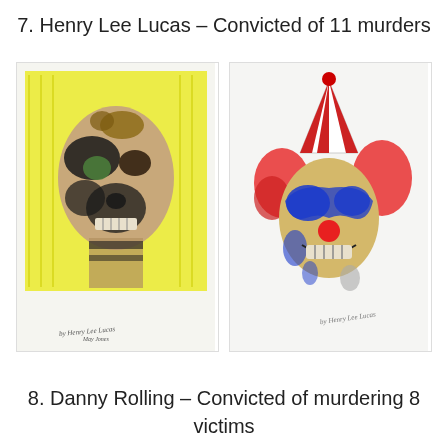7. Henry Lee Lucas – Convicted of 11 murders
[Figure (illustration): Two artworks by Henry Lee Lucas. Left: A skull-like decomposed face drawing with yellow background, black and beige tones, with a signature 'by Henry Lee Lucas' at the bottom. Right: A colorful clown face drawing with red, blue, and yellow colors, party hat, and a signature at the bottom.]
8. Danny Rolling – Convicted of murdering 8 victims